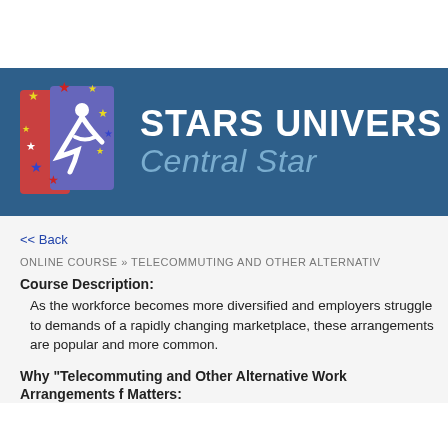[Figure (logo): Stars University logo with colorful stars and a figure, on a blue banner background]
STARS UNIVERS Central Star
<< Back
ONLINE COURSE » TELECOMMUTING AND OTHER ALTERNATIV
Course Description:
As the workforce becomes more diversified and employers struggle to demands of a rapidly changing marketplace, these arrangements are popular and more common.
Why "Telecommuting and Other Alternative Work Arrangements f Matters: